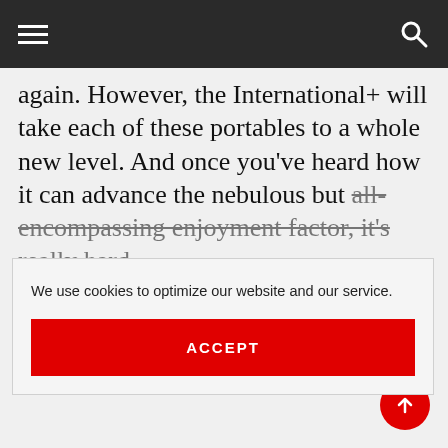Navigation bar with hamburger menu, dark/light mode icon, and search icon
again. However, the International+ will take each of these portables to a whole new level. And once you've heard how it can advance the nebulous but all-encompassing enjoyment factor, it's really hard
We use cookies to optimize our website and our service.
ACCEPT
A1 DAC/amplifier, Sennheiser HD800, Audeze LCD-X, KEF M500, DITA Audio Truth IEM, Cardas EM5813 'Ear Speakers', Master&Dynamic MH40